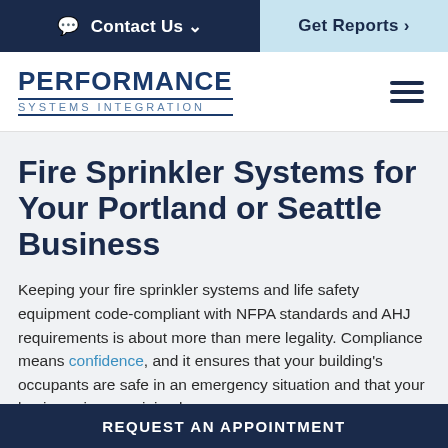Contact Us ∨ | Get Reports >
PERFORMANCE SYSTEMS INTEGRATION
Fire Sprinkler Systems for Your Portland or Seattle Business
Keeping your fire sprinkler systems and life safety equipment code-compliant with NFPA standards and AHJ requirements is about more than mere legality. Compliance means confidence, and it ensures that your building’s occupants are safe in an emergency situation and that your business incurs minimal
REQUEST AN APPOINTMENT